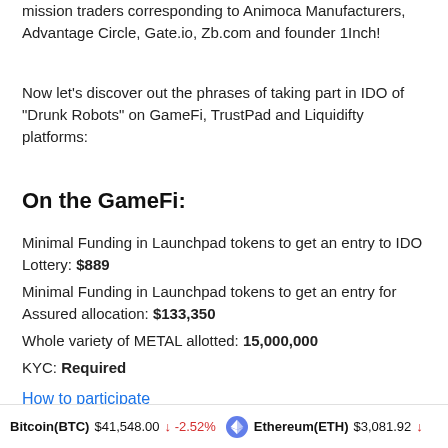mission traders corresponding to Animoca Manufacturers, Advantage Circle, Gate.io, Zb.com and founder 1Inch!
Now let's discover out the phrases of taking part in IDO of "Drunk Robots" on GameFi, TrustPad and Liquidifty platforms:
On the GameFi:
Minimal Funding in Launchpad tokens to get an entry to IDO Lottery: $889
Minimal Funding in Launchpad tokens to get an entry for Assured allocation: $133,350
Whole variety of METAL allotted: 15,000,000
KYC: Required
How to participate
Bitcoin(BTC) $41,548.00 ↓ -2.52%   Ethereum(ETH) $3,081.92 ↓